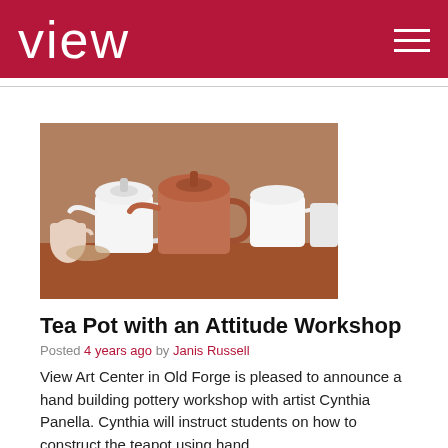view
[Figure (photo): Multiple ceramic teapots in various stages of completion arranged on a wooden surface, some white and some terracotta colored]
Tea Pot with an Attitude Workshop
Posted 4 years ago by Janis Russell
View Art Center in Old Forge is pleased to announce a hand building pottery workshop with artist Cynthia Panella. Cynthia will instruct students on how to construct the teapot using hand...
Read more...